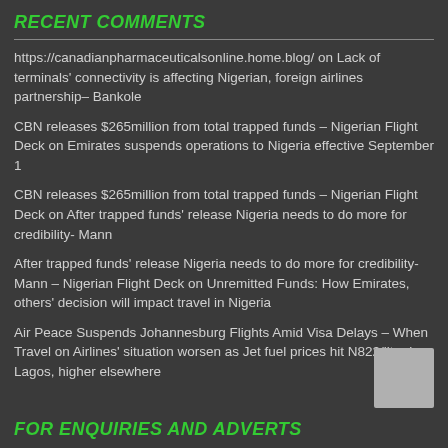RECENT COMMENTS
https://canadianpharmaceuticalsonline.home.blog/ on Lack of terminals' connectivity is affecting Nigerian, foreign airlines partnership– Bankole
CBN releases $265million from total trapped funds – Nigerian Flight Deck on Emirates suspends operations to Nigeria effective September 1
CBN releases $265million from total trapped funds – Nigerian Flight Deck on After trapped funds' release Nigeria needs to do more for credibility- Mann
After trapped funds' release Nigeria needs to do more for credibility- Mann – Nigerian Flight Deck on Unremitted Funds: How Emirates, others' decision will impact travel in Nigeria
Air Peace Suspends Johannesburg Flights Amid Visa Delays – When Travel on Airlines' situation worsen as Jet fuel prices hit N822/litre in Lagos, higher elsewhere
FOR ENQUIRIES AND ADVERTS